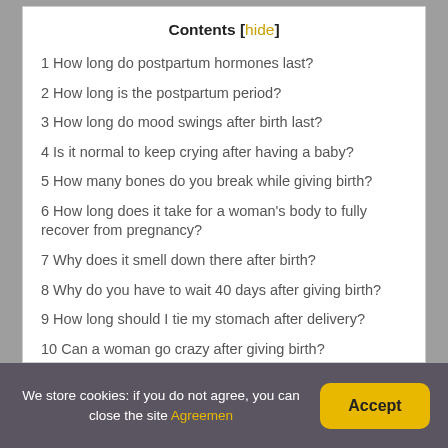Contents [hide]
1 How long do postpartum hormones last?
2 How long is the postpartum period?
3 How long do mood swings after birth last?
4 Is it normal to keep crying after having a baby?
5 How many bones do you break while giving birth?
6 How long does it take for a woman's body to fully recover from pregnancy?
7 Why does it smell down there after birth?
8 Why do you have to wait 40 days after giving birth?
9 How long should I tie my stomach after delivery?
10 Can a woman go crazy after giving birth?
11 Does breastfeeding make you more emotional?
12 Is postpartum curable?
13 Can my newborn feel my emotions?
We store cookies: if you do not agree, you can close the site Agreemen